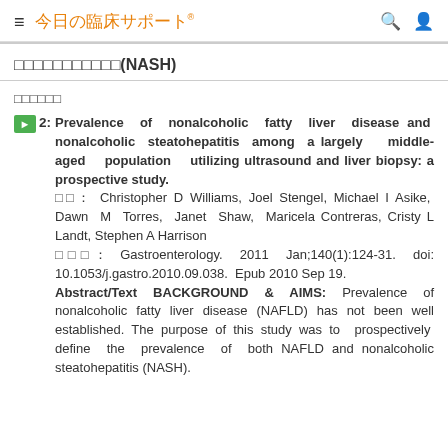≡ 今日の臨床サポート🔍👤
□□□□□□□□□□□(NASH)
□□□□□□
▶2: Prevalence of nonalcoholic fatty liver disease and nonalcoholic steatohepatitis among a largely middle-aged population utilizing ultrasound and liver biopsy: a prospective study. 著者: Christopher D Williams, Joel Stengel, Michael I Asike, Dawn M Torres, Janet Shaw, Maricela Contreras, Cristy L Landt, Stephen A Harrison 雑誌名: Gastroenterology. 2011 Jan;140(1):124-31. doi: 10.1053/j.gastro.2010.09.038. Epub 2010 Sep 19. Abstract/Text BACKGROUND & AIMS: Prevalence of nonalcoholic fatty liver disease (NAFLD) has not been well established. The purpose of this study was to prospectively define the prevalence of both NAFLD and nonalcoholic steatohepatitis (NASH).